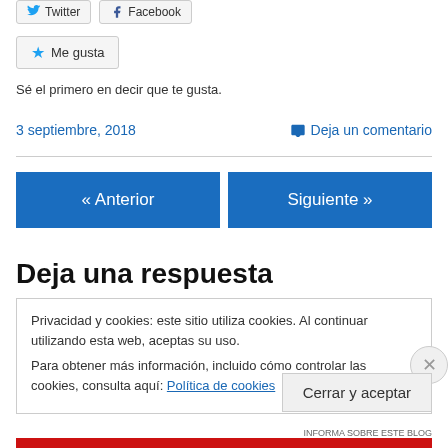[Figure (other): Social share buttons: Twitter and Facebook]
[Figure (other): Me gusta (Like) button with star icon]
Sé el primero en decir que te gusta.
3 septiembre, 2018
Deja un comentario
« Anterior
Siguiente »
Deja una respuesta
Privacidad y cookies: este sitio utiliza cookies. Al continuar utilizando esta web, aceptas su uso.
Para obtener más información, incluido cómo controlar las cookies, consulta aquí: Política de cookies
Cerrar y aceptar